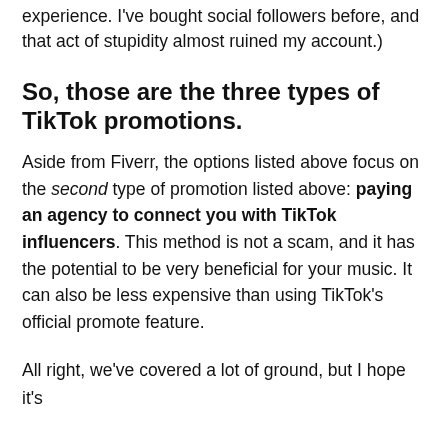experience. I've bought social followers before, and that act of stupidity almost ruined my account.)
So, those are the three types of TikTok promotions.
Aside from Fiverr, the options listed above focus on the second type of promotion listed above: paying an agency to connect you with TikTok influencers. This method is not a scam, and it has the potential to be very beneficial for your music. It can also be less expensive than using TikTok's official promote feature.
All right, we've covered a lot of ground, but I hope it's